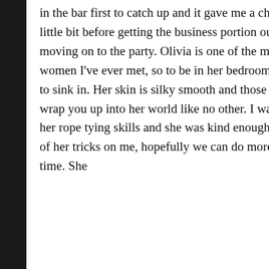in the bar first to catch up and it gave me a chance to relax a little bit before getting the business portion out of the way and moving on to the party. Olivia is one of the most beautiful women I've ever met, so to be in her bedroom took a little bit to sink in. Her skin is silky smooth and those long legs will wrap you up into her world like no other. I was curious about her rope tying skills and she was kind enough to practice a few of her tricks on me, hopefully we can do more of that next time. She
Back to Top